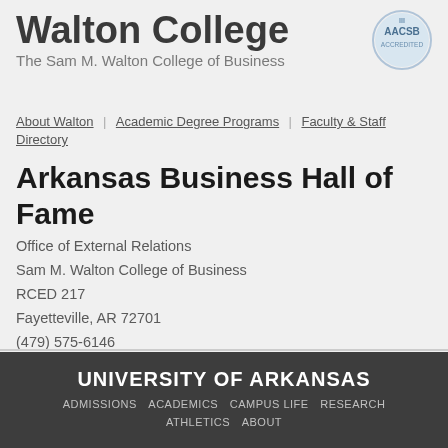Walton College
The Sam M. Walton College of Business
[Figure (logo): AACSB Accredited circular badge/seal in light blue]
About Walton | Academic Degree Programs | Faculty & Staff Directory
Arkansas Business Hall of Fame
Office of External Relations
Sam M. Walton College of Business
RCED 217
Fayetteville, AR 72701
(479) 575-6146
UNIVERSITY OF ARKANSAS
ADMISSIONS  ACADEMICS  CAMPUS LIFE  RESEARCH  ATHLETICS  ABOUT